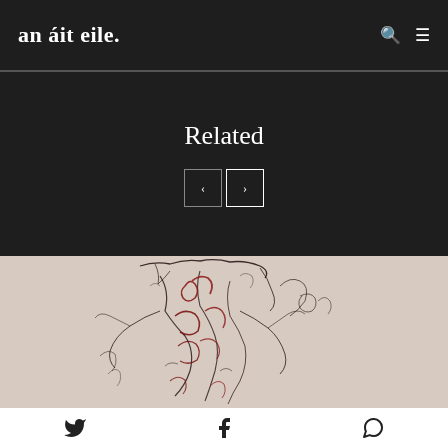an áit eile.
Related
[Figure (illustration): Abstract sketch drawing with dark ink lines and red/crimson marks on a light beige background, resembling a gestural figure or organic form]
Twitter, Facebook, WhatsApp share icons